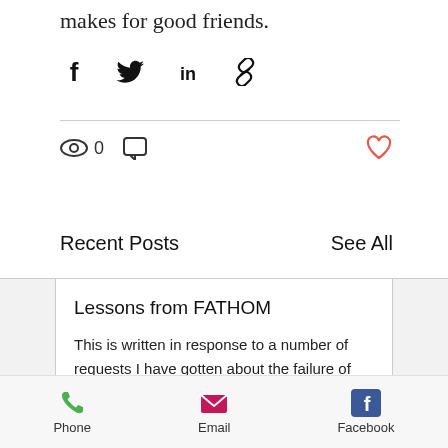makes for good friends.
[Figure (infographic): Social share icons: Facebook, Twitter, LinkedIn, Link]
[Figure (infographic): View count (eye icon, 0), comment icon, and heart/like icon]
Recent Posts
See All
[Figure (screenshot): Blog post card: Title 'Lessons from FATHOM', excerpt 'This is written in response to a number of requests I have gotten about the failure of FA...']
Phone   Email   Facebook